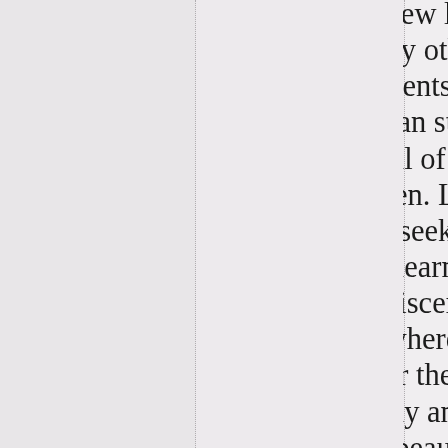when choosing a new life, n But there was every other q and also with elements of w and there were mean states is the supreme peril of our h care should be taken. Let ea of knowledge and seek and he may be able to learn and able to learn and discern be always and everywhere the He should consider the bea mentioned severally and co what the effect of beauty is in a particular soul, and wha of noble and humble birth, o and weakness, of clevernes and the operation of them w of the soul, and from the co will be able to determine wh